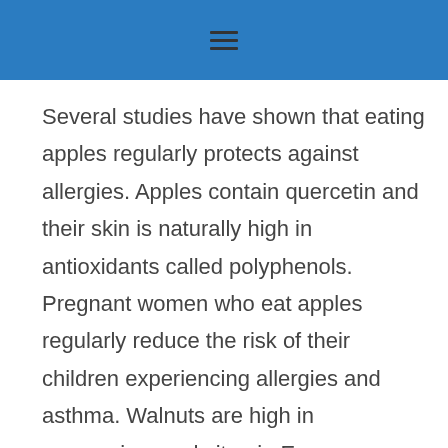☰
Several studies have shown that eating apples regularly protects against allergies. Apples contain quercetin and their skin is naturally high in antioxidants called polyphenols. Pregnant women who eat apples regularly reduce the risk of their children experiencing allergies and asthma. Walnuts are high in magnesium and vitamin E – magnesium protects against wheezing and coughing, and vitamin E acts as an antioxidant immunity booster.